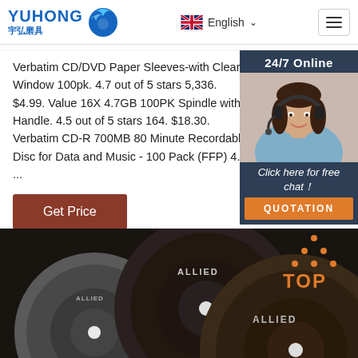YUHONG 宇弘磨具 | English | menu
Verbatim CD/DVD Paper Sleeves-with Clear Window 100pk. 4.7 out of 5 stars 5,336. $4.99. Value 16X 4.7GB 100PK Spindle with Handle. 4.5 out of 5 stars 164. $18.30. Verbatim CD-R 700MB 80 Minute Recordable Disc for Data and Music - 100 Pack (FFP) 4.7 ...
[Figure (screenshot): Get Price button - brown/dark red rectangular button]
[Figure (photo): Chat widget showing 24/7 Online banner, customer service woman with headset, Click here for free chat! text, and QUOTATION orange button]
[Figure (photo): Bottom image showing three dark grinding/cutting discs labeled ALLIED on dark background, with orange TOP icon in bottom right]